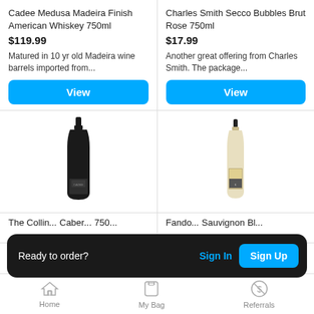Cadee Medusa Madeira Finish American Whiskey 750ml
$119.99
Matured in 10 yr old Madeira wine barrels imported from...
View
Charles Smith Secco Bubbles Brut Rose 750ml
$17.99
Another great offering from Charles Smith. The package...
View
[Figure (photo): Dark wine/whiskey bottle (Cadee brand)]
[Figure (photo): Light/white wine bottle (Charles Smith Secco)]
The Collin... Cabernet 750...
$3...
Fando... Sauvignon Bl...
Ready to order?
Sign In
Sign Up
Home   My Bag   Referrals